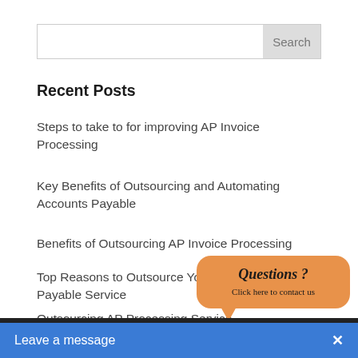Search
Recent Posts
Steps to take to for improving AP Invoice Processing
Key Benefits of Outsourcing and Automating Accounts Payable
Benefits of Outsourcing AP Invoice Processing
Top Reasons to Outsource Your Accounts Payable Service
Outsourcing AP Processing Services
[Figure (other): Orange rounded chat bubble popup with text 'Questions ?' and 'Click here to contact us']
Leave a message  ×